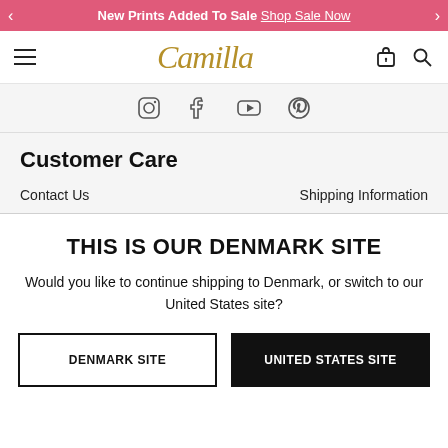New Prints Added To Sale Shop Sale Now
[Figure (logo): Camilla brand logo in gold italic script]
[Figure (illustration): Social media icons row: Instagram, Facebook, YouTube, Pinterest]
Customer Care
Contact Us   Shipping Information
THIS IS OUR DENMARK SITE
Would you like to continue shipping to Denmark, or switch to our United States site?
DENMARK SITE   UNITED STATES SITE